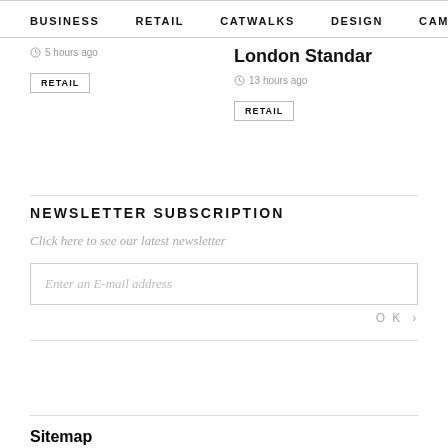BUSINESS  RETAIL  CATWALKS  DESIGN  CAMI  >
5 hours ago
London Standar
13 hours ago
RETAIL
RETAIL
NEWSLETTER SUBSCRIPTION
Click here to see our latest newsletter
Enter an E-mail address
OK >
SITEMAP